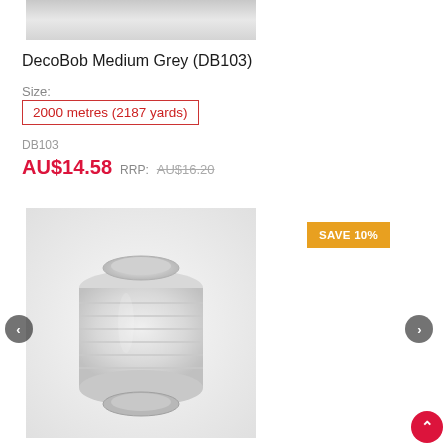[Figure (photo): Partial top view of a white thread spool product image, cropped at the top of the page]
DecoBob Medium Grey (DB103)
Size:
2000 metres (2187 yards)
DB103
AU$14.58  RRP: AU$16.20
[Figure (photo): Full spool of DecoBob Medium Grey embroidery thread (DB103), 2000 metres, shown against a light grey background. A gold/orange 'SAVE 10%' badge appears in the upper right. Left and right navigation arrows are visible on either side.]